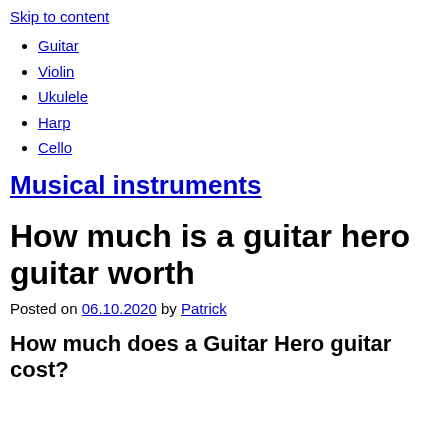Skip to content
Guitar
Violin
Ukulele
Harp
Cello
Musical instruments
How much is a guitar hero guitar worth
Posted on 06.10.2020 by Patrick
How much does a Guitar Hero guitar cost?